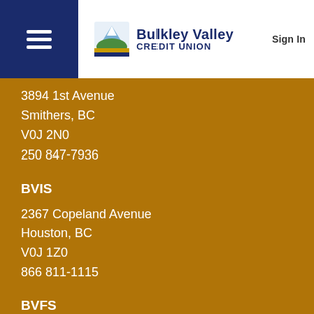Bulkley Valley Credit Union | Sign In
3894 1st Avenue
Smithers, BC
V0J 2N0
250 847-7936
BVIS
2367 Copeland Avenue
Houston, BC
V0J 1Z0
866 811-1115
BVFS
2367 Copeland Avenue
Houston, BC